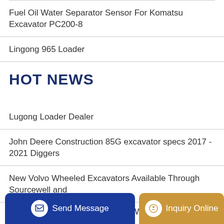Fuel Oil Water Separator Sensor For Komatsu Excavator PC200-8
Lingong 965 Loader
HOT NEWS
Lugong Loader Dealer
John Deere Construction 85G excavator specs 2017 - 2021 Diggers
New Volvo Wheeled Excavators Available Through Sourcewell and
Cat Command for Loading Small Wheel Loaders